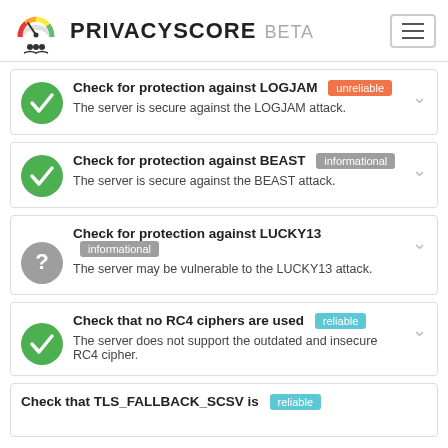PRIVACYSCORE BETA
Check for protection against LOGJAM [unreliable]
The server is secure against the LOGJAM attack.
Check for protection against BEAST [informational]
The server is secure against the BEAST attack.
Check for protection against LUCKY13 [informational]
The server may be vulnerable to the LUCKY13 attack.
Check that no RC4 ciphers are used [reliable]
The server does not support the outdated and insecure RC4 cipher.
Check that TLS_FALLBACK_SCSV is [reliable]